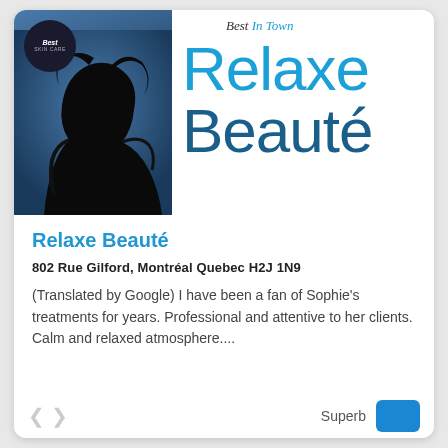[Figure (logo): Relaxe Beauté business listing card with silhouette photo on left and large blue 'Relaxe Beauté' logo text on right, with 'Best In Town' overlay and a circular badge reading 'Best SKIN CARE']
Relaxe Beauté
802 Rue Gilford, Montréal Quebec H2J 1N9
(Translated by Google) I have been a fan of Sophie's treatments for years. Professional and attentive to her clients. Calm and relaxed atmosphere....
Superb